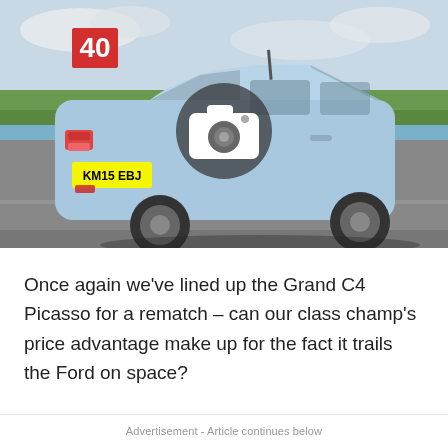[Figure (photo): A light blue Citroën Grand C4 Picasso MPV driving on a road, rear three-quarter view, with a camera icon overlay and a red badge showing '40' in the upper right area of the camera overlay.]
Once again we've lined up the Grand C4 Picasso for a rematch – can our class champ's price advantage make up for the fact it trails the Ford on space?
Advertisement - Article continues below